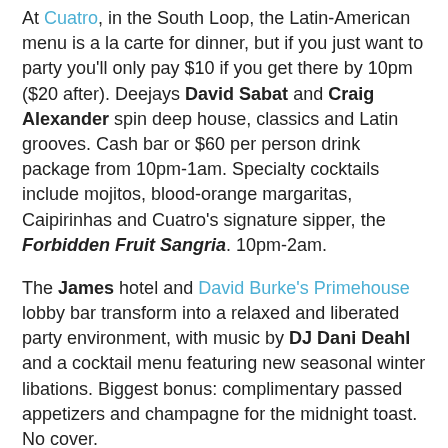At Cuatro, in the South Loop, the Latin-American menu is a la carte for dinner, but if you just want to party you'll only pay $10 if you get there by 10pm ($20 after). Deejays David Sabat and Craig Alexander spin deep house, classics and Latin grooves. Cash bar or $60 per person drink package from 10pm-1am. Specialty cocktails include mojitos, blood-orange margaritas, Caipirinhas and Cuatro's signature sipper, the Forbidden Fruit Sangria. 10pm-2am.
The James hotel and David Burke's Primehouse lobby bar transform into a relaxed and liberated party environment, with music by DJ Dani Deahl and a cocktail menu featuring new seasonal winter libations. Biggest bonus: complimentary passed appetizers and champagne for the midnight toast. No cover.
In Ukrainian Village's Enoteca Roma, guests may indulge in a five-course, regional Italian dinner paired with wine for $55. Two seatings: 7:30 and 9:30pm. Those who stay for the late seating (and midnight champagne toast) will be treated to fresh-baked muffins from the adjacent Letizia's Natural...